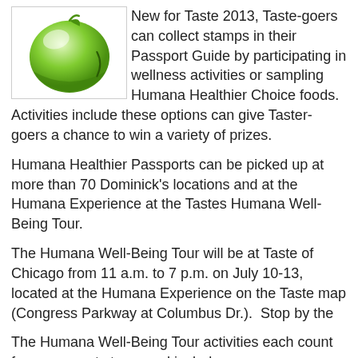[Figure (illustration): Green apple or bowl-shaped green logo in a bordered box]
New for Taste 2013, Taste-goers can collect stamps in their Passport Guide by participating in wellness activities or sampling Humana Healthier Choice foods. Activities include these options can give Taster-goers a chance to win a variety of prizes.
Humana Healthier Passports can be picked up at more than 70 Dominick's locations and at the Humana Experience at the Tastes Humana Well-Being Tour.
The Humana Well-Being Tour will be at Taste of Chicago from 11 a.m. to 7 p.m. on July 10-13, located at the Humana Experience on the Taste map (Congress Parkway at Columbus Dr.).  Stop by the
The Humana Well-Being Tour activities each count for a passport stamp and include:
Interactive XBox Kinect station where guests can play the “Your Shape” game